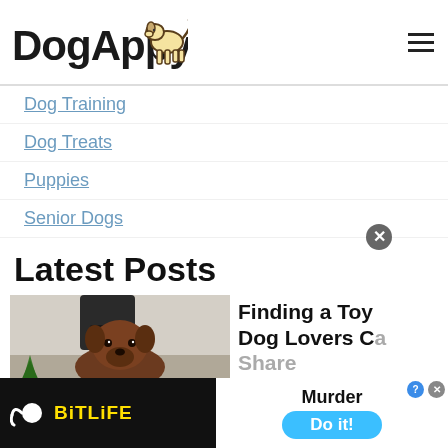[Figure (logo): DogAppy logo with cartoon dog illustration and bold text]
Dog Training
Dog Treats
Puppies
Senior Dogs
Latest Posts
[Figure (photo): A brown dog looking up at camera while chewing a colorful toy]
Finding a Toy Dog Lovers Can Share
The
[Figure (screenshot): BitLife advertisement banner with Murder Do it! button]